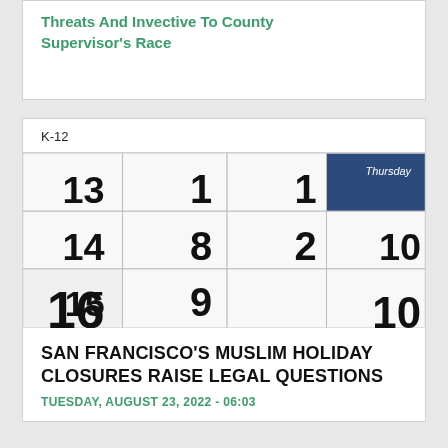Threats And Invective To County Supervisor's Race
K-12
[Figure (photo): Close-up photo of a physical calendar showing dates including 1, 2, 8, 9, 10, 13, 14, 15, 16, with 'Thursday' label visible in top right corner in dark blue/navy.]
SAN FRANCISCO'S MUSLIM HOLIDAY CLOSURES RAISE LEGAL QUESTIONS
TUESDAY, AUGUST 23, 2022 - 06:03